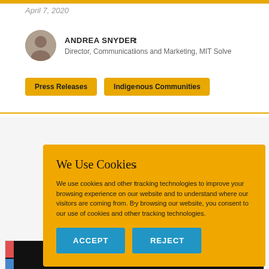April 7, 2020
ANDREA SNYDER
Director, Communications and Marketing, MIT Solve
Press Releases   Indigenous Communities
[Figure (screenshot): Cookie consent overlay on a dark background card with colored bars. Cookie banner reads: 'We Use Cookies. We use cookies and other tracking technologies to improve your browsing experience on our website and to understand where our visitors are coming from. By browsing our website, you consent to our use of cookies and other tracking technologies.' with ACCEPT and REJECT buttons.]
Ann...
Challenges